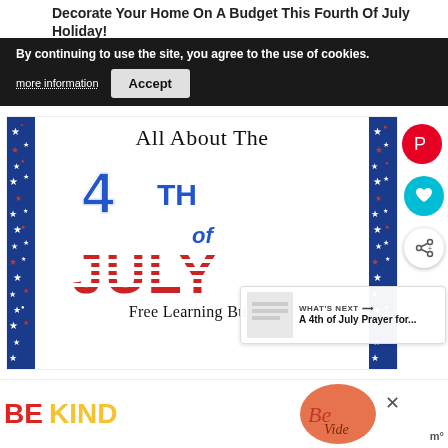Decorate Your Home On A Budget This Fourth Of July Holiday!
By continuing to use the site, you agree to the use of cookies. more information | Accept
[Figure (illustration): Fourth of July themed decorative card showing 'All About The 4th of July Free Learning Bundle' with patriotic red, white, and blue colors, stars and stripes decorative side borders]
WHAT'S NEXT → A 4th of July Prayer for...
BE KIND